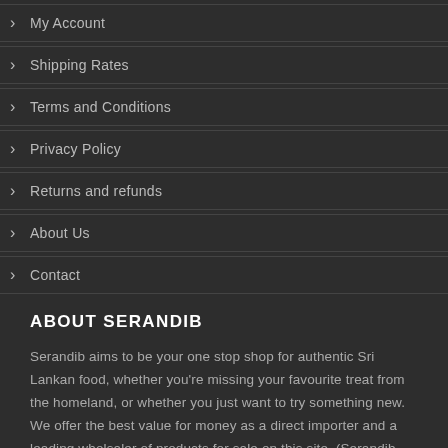My Account
Shipping Rates
Terms and Conditions
Privacy Policy
Returns and refunds
About Us
Contact
ABOUT SERANDIB
Serandib aims to be your one stop shop for authentic Sri Lankan food, whether you're missing your favourite treat from the homeland, or whether you just want to try something new. We offer the best value for money as a direct importer and a leading wholsaler of products for sale on this site. (Serandib Online Store operates independently to Serandib Retail Shop in Auckland, and online pricing may differ from the retail store).